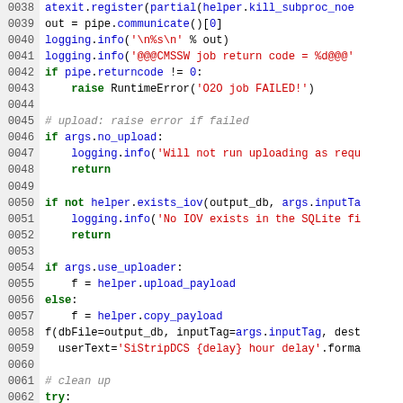[Figure (screenshot): Python source code snippet showing lines 0038-0067, with syntax highlighting. Keywords in green/bold, strings in red, comments in gray italic, identifiers/builtins in blue, plain code in black.]